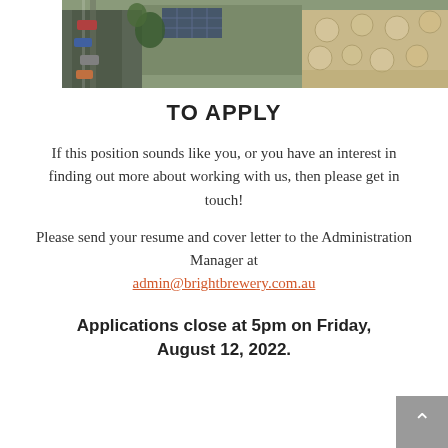[Figure (photo): Aerial view of a brewery building with solar panels, outdoor seating area with round umbrella tables, and a road with parked cars alongside trees and garden areas.]
TO APPLY
If this position sounds like you, or you have an interest in finding out more about working with us, then please get in touch!
Please send your resume and cover letter to the Administration Manager at admin@brightbrewery.com.au
Applications close at 5pm on Friday, August 12, 2022.